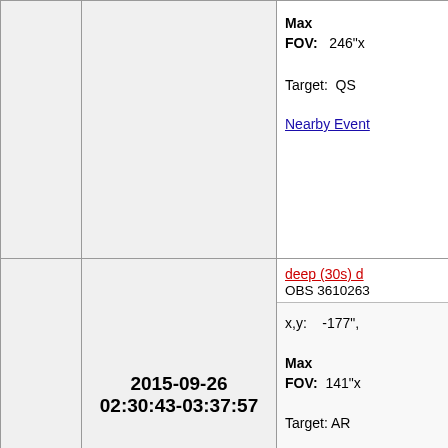|  | Date/Time | Observation Info |
| --- | --- | --- |
|  |  | Max FOV: 246"x
Target: QS
Nearby Event... |
|  | 2015-09-26 02:30:43-03:37:57 | deep (30s) o...
OBS 3610263...
x,y: -177",
Max FOV: 141"x
Target: AR
Nearby Event... |
|  | 2015-09-26 00:58:17-02:06:18 | HOP 247, m...
OBS 360025...
x,y: -206",
Max... |